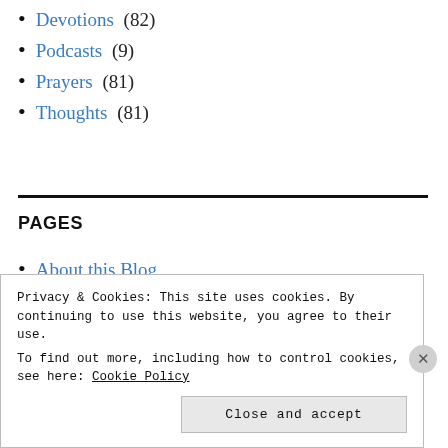Devotions (82)
Podcasts (9)
Prayers (81)
Thoughts (81)
PAGES
About this Blog
Privacy & Cookies: This site uses cookies. By continuing to use this website, you agree to their use. To find out more, including how to control cookies, see here: Cookie Policy
Close and accept